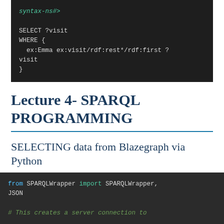[Figure (screenshot): Code block showing SPARQL query with SELECT ?visit WHERE { ex:Emma ex:visit/rdf:rest*/rdf:first ?visit } on dark background]
Lecture 4- SPARQL PROGRAMMING
SELECTING data from Blazegraph via Python
[Figure (screenshot): Python code block: from SPARQLWrapper import SPARQLWrapper, JSON followed by # This creates a server connection to]